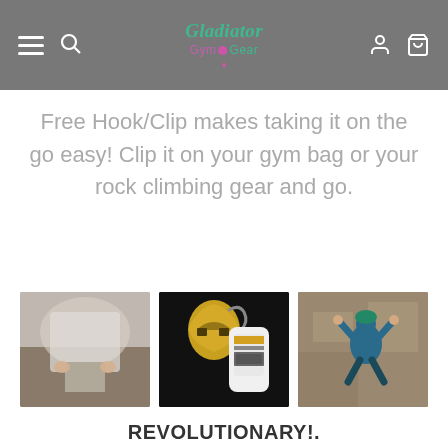Gladiator Gym Gear — navigation bar with logo
Free Hook/Clip makes taking it on the go easy! Clip it on your gym bag or your rock climbing gear and go.
[Figure (photo): Three product/lifestyle photos: left shows a person's hands on a surface, center shows a Gladiator-branded bottle with a golden helmet clip, right shows a rock climber on a cliff face]
REVOLUTIONARY!.